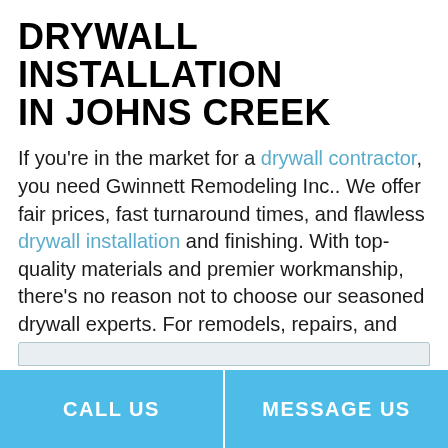DRYWALL INSTALLATION IN JOHNS CREEK
If you're in the market for a drywall contractor, you need Gwinnett Remodeling Inc.. We offer fair prices, fast turnaround times, and flawless drywall installation and finishing. With top-quality materials and premier workmanship, there's no reason not to choose our seasoned drywall experts. For remodels, repairs, and new construction, choose the drywall contractor that puts clients and quality first.
Call us now at (678) 682-1235 to get a quote on our drywall services.
CALL US
MESSAGE US